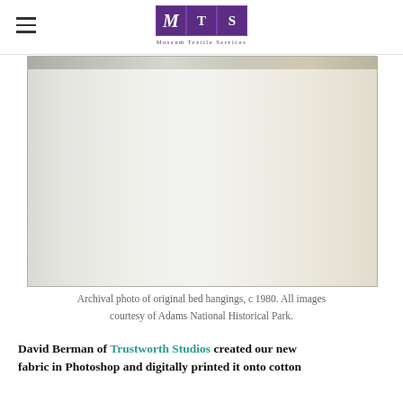Museum Textile Services
[Figure (photo): Archival photograph of original bed hangings, showing a portion of the image with a gradient from gray at the top to white/light below, circa 1980. Courtesy of Adams National Historical Park.]
Archival photo of original bed hangings, c 1980. All images courtesy of Adams National Historical Park.
David Berman of Trustworth Studios created our new fabric in Photoshop and digitally printed it onto cotton